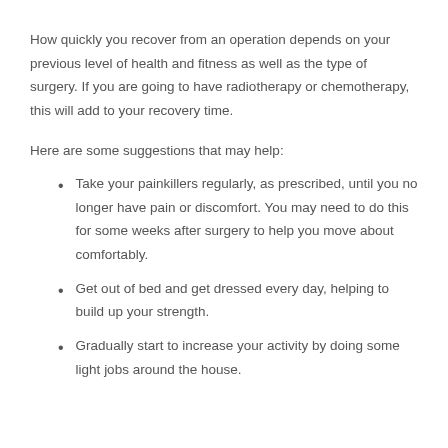How quickly you recover from an operation depends on your previous level of health and fitness as well as the type of surgery. If you are going to have radiotherapy or chemotherapy, this will add to your recovery time.
Here are some suggestions that may help:
Take your painkillers regularly, as prescribed, until you no longer have pain or discomfort. You may need to do this for some weeks after surgery to help you move about comfortably.
Get out of bed and get dressed every day, helping to build up your strength.
Gradually start to increase your activity by doing some light jobs around the house.